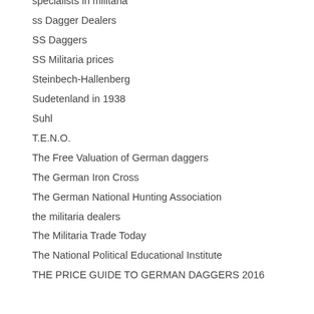specialists in militaria
ss Dagger Dealers
SS Daggers
SS Militaria prices
Steinbech-Hallenberg
Sudetenland in 1938
Suhl
T.E.N.O.
The Free Valuation of German daggers
The German Iron Cross
The German National Hunting Association
the militaria dealers
The Militaria Trade Today
The National Political Educational Institute
THE PRICE GUIDE TO GERMAN DAGGERS 2016